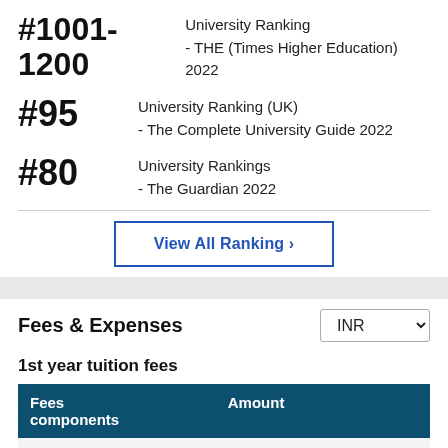#1001-1200 University Ranking - THE (Times Higher Education) 2022
#95 University Ranking (UK) - The Complete University Guide 2022
#80 University Rankings - The Guardian 2022
View All Ranking >
Fees & Expenses
1st year tuition fees
| Fees components | Amount |
| --- | --- |
|  |  |